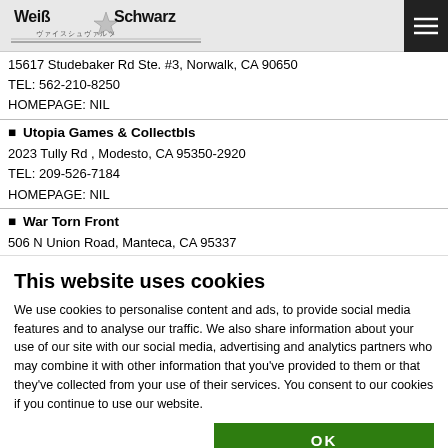[Figure (logo): Weiß Schwarz logo with stylized text and star graphic on grey background, with hamburger menu button on right]
15617 Studebaker Rd Ste. #3, Norwalk, CA 90650
TEL: 562-210-8250
HOMEPAGE: NIL
■ Utopia Games & Collectbls
2023 Tully Rd , Modesto, CA 95350-2920
TEL: 209-526-7184
HOMEPAGE: NIL
■ War Torn Front
506 N Union Road, Manteca, CA 95337
This website uses cookies
We use cookies to personalise content and ads, to provide social media features and to analyse our traffic. We also share information about your use of our site with our social media, advertising and analytics partners who may combine it with other information that you've provided to them or that they've collected from your use of their services. You consent to our cookies if you continue to use our website.
OK
Necessary  Preferences  Statistics  Marketing  Show details